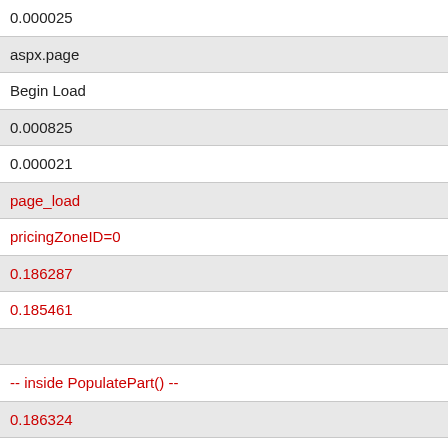| 0.000025 |
| aspx.page |
| Begin Load |
| 0.000825 |
| 0.000021 |
| page_load |
| pricingZoneID=0 |
| 0.186287 |
| 0.185461 |
|  |
| -- inside PopulatePart() -- |
| 0.186324 |
| 0.000037 |
| populatePart |
| productID=4022 |
| 0.186343 |